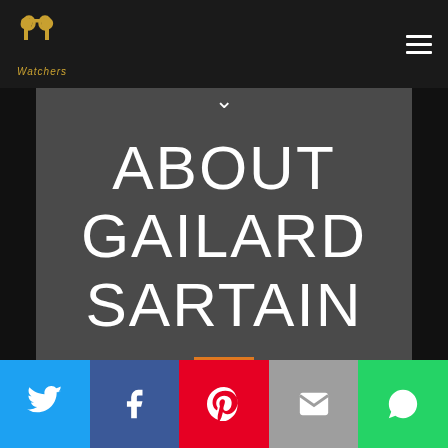[Figure (logo): PP Watches logo with golden stylized PP text above 'Watchers' label in dark navbar]
ABOUT GAILARD SARTAIN
[Figure (infographic): Social sharing bar with Twitter, Facebook, Pinterest, Email, and WhatsApp buttons]